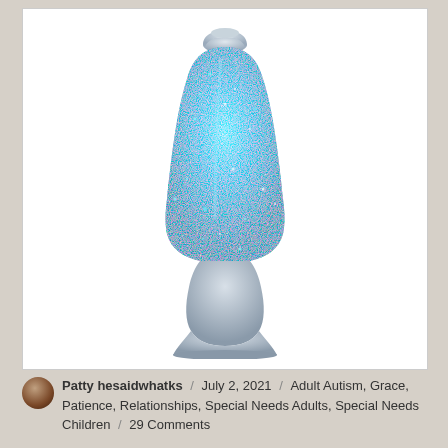[Figure (photo): A blue glitter lava lamp with a silver metallic base and cap, filled with bright blue glittery liquid, on a white background.]
Patty hesaidwhatks / July 2, 2021 / Adult Autism, Grace, Patience, Relationships, Special Needs Adults, Special Needs Children / 29 Comments